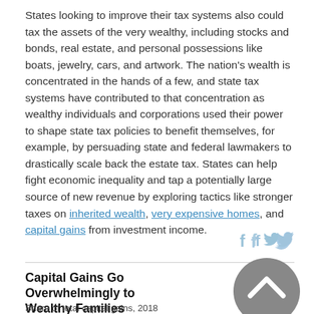States looking to improve their tax systems also could tax the assets of the very wealthy, including stocks and bonds, real estate, and personal possessions like boats, jewelry, cars, and artwork. The nation’s wealth is concentrated in the hands of a few, and state tax systems have contributed to that concentration as wealthy individuals and corporations used their power to shape state tax policies to benefit themselves, for example, by persuading state and federal lawmakers to drastically scale back the estate tax. States can help fight economic inequality and tap a potentially large source of new revenue by exploring tactics like stronger taxes on inherited wealth, very expensive homes, and capital gains from investment income.
[Figure (other): Social media share icons: Facebook (f) and Twitter (bird) in light blue]
Capital Gains Go Overwhelmingly to Wealthy Families
Share of total capital gains, 2018
[Figure (other): Circular scroll-up button in gray with upward chevron arrow]